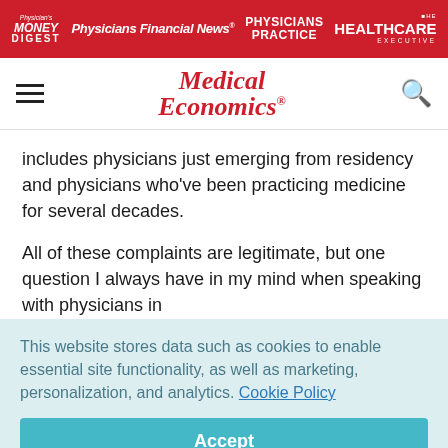[Figure (logo): Top red navigation bar with four publication logos: Physician's Money Digest, Physicians Financial News, Physicians Practice, and Healthcare Executive]
[Figure (logo): Medical Economics masthead logo in red italic serif font, with hamburger menu icon and search magnifying glass icon]
includes physicians just emerging from residency and physicians who've been practicing medicine for several decades.
All of these complaints are legitimate, but one question I always have in my mind when speaking with physicians in
This website stores data such as cookies to enable essential site functionality, as well as marketing, personalization, and analytics. Cookie Policy
Accept
Deny